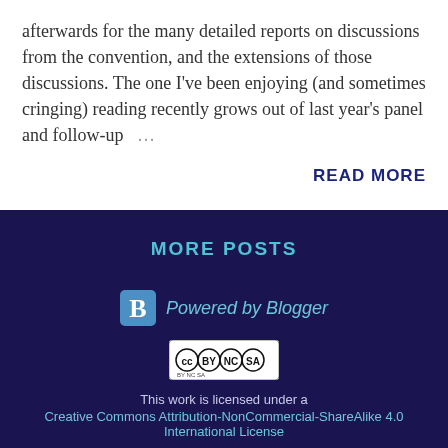afterwards for the many detailed reports on discussions from the convention, and the extensions of those discussions. The one I've been enjoying (and sometimes cringing) reading recently grows out of last year's panel and follow-up …
READ MORE
MORE POSTS
[Figure (logo): Powered by Blogger logo with Blogger 'B' icon]
[Figure (logo): Creative Commons BY NC SA license badge]
This work is licensed under a
Creative Commons Attribution-NonCommercial-ShareAlike 4.0 International License
follow The Mumpsimus on follow.it